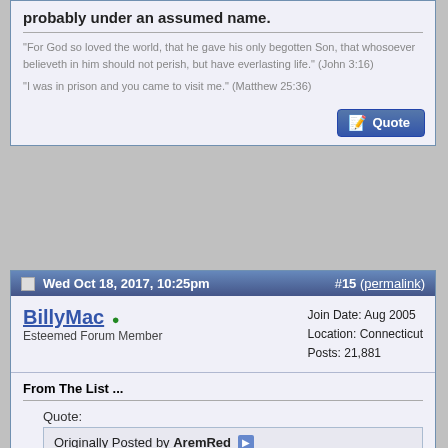probably under an assumed name.
"For God so loved the world, that he gave his only begotten Son, that whosoever believeth in him should not perish, but have everlasting life." (John 3:16)
"I was in prison and you came to visit me." (Matthew 25:36)
Wed Oct 18, 2017, 10:25pm
#15 (permalink)
BillyMac
Esteemed Forum Member
Join Date: Aug 2005
Location: Connecticut
Posts: 21,881
From The List ...
Quote:
Originally Posted by AremRed
... you have to have contact for a foul.
Yes sir.

A moving screen is not in and of itself a foul; illegal contact must occur for a foul to be called. If a blind screen is set on a stationary defender, the defender must be given one normal step to change direction, and attempt to avoid contact. If a screen is set on a moving defender, the defender gets a minimum of one step, and a maximum of two steps, depending on the speed, and distance of the defender.